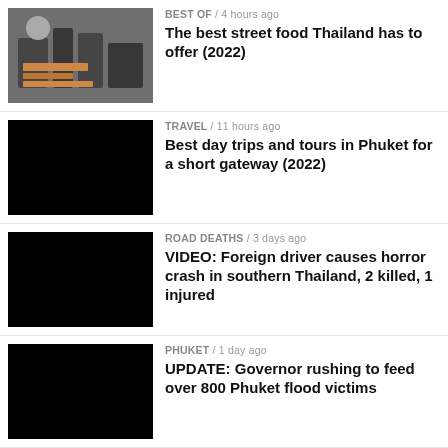[Figure (photo): Street food being prepared in Thailand]
BEST OF / 4 hours ago
The best street food Thailand has to offer (2022)
[Figure (photo): Black placeholder image]
TRAVEL / 11 hours ago
Best day trips and tours in Phuket for a short gateway (2022)
[Figure (photo): Black placeholder image]
ROAD DEATHS / 3 days ago
VIDEO: Foreign driver causes horror crash in southern Thailand, 2 killed, 1 injured
[Figure (photo): Black placeholder image]
PHUKET / 1 day ago
UPDATE: Governor rushing to feed over 800 Phuket flood victims
[Figure (photo): Flooded street with cars in Phuket]
PHUKET / 2 days ago
UPDATE: Prayut calls in army to help with Phuket floods